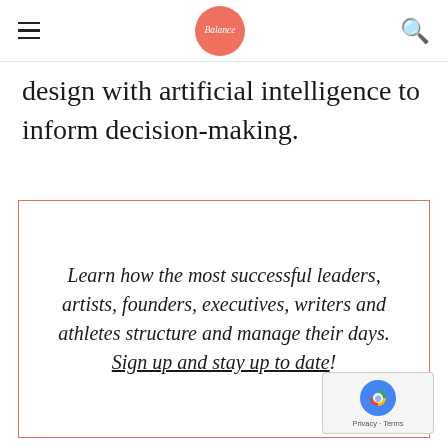Balance [logo] [search icon]
design with artificial intelligence to inform decision-making.
Learn how the most successful leaders, artists, founders, executives, writers and athletes structure and manage their days. Sign up and stay up to date!